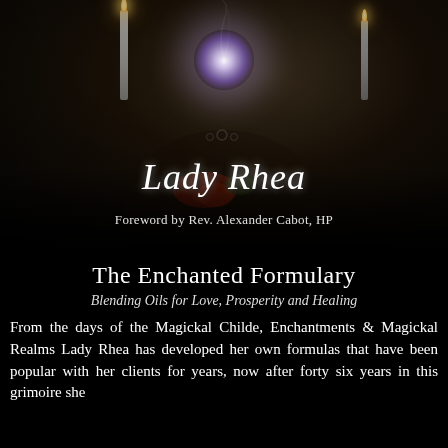[Figure (photo): Dark mystical book cover photo showing candles, a cauldron with glowing light, a figure in dark robes, and a red cloth, with atmospheric smoke effects]
Lady Rhea
Foreword by Rev. Alexander Cabot, HP
The Enchanted Formulary
Blending Oils for Love, Prosperity and Healing
From the days of the Magickal Childe, Enchantments & Magickal Realms Lady Rhea has developed her own formulas that have been popular with her clients for years, now after forty six years in this grimoire she